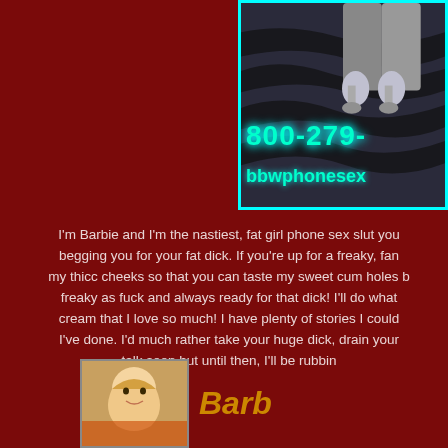[Figure (photo): Banner image with legs in silver heels on zebra print background, phone number 800-279- and website bbwphonesex visible, cyan border]
I'm Barbie and I'm the nastiest, fat girl phone sex slut you begging you for your fat dick. If you're up for a freaky, fan my thicc cheeks so that you can taste my sweet cum holes freaky as fuck and always ready for that dick! I'll do what cream that I love so much! I have plenty of stories I could I've done. I'd much rather take your huge dick, drain your talk soon but until then, I'll be rubbin
[Figure (photo): Small profile photo of blonde woman]
Barb